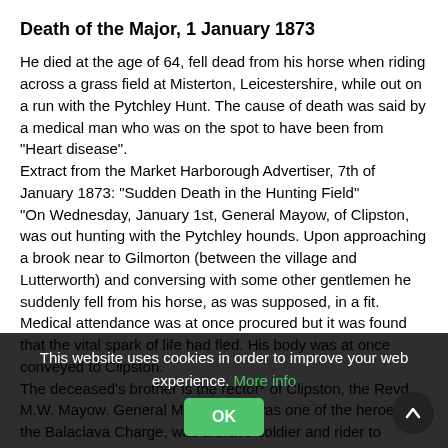Death of the Major, 1 January 1873
He died at the age of 64, fell dead from his horse when riding across a grass field at Misterton, Leicestershire, while out on a run with the Pytchley Hunt. The cause of death was said by a medical man who was on the spot to have been from "Heart disease".
Extract from the Market Harborough Advertiser, 7th of January 1873: "Sudden Death in the Hunting Field"
"On Wednesday, January 1st, General Mayow, of Clipston, was out hunting with the Pytchley hounds. Upon approaching a brook near to Gilmorton (between the village and Lutterworth) and conversing with some other gentlemen he suddenly fell from his horse, as was supposed, in a fit. Medical attendance was at once procured but it was found that the vital spark of life had fled. His body was at once conveyed to Clipston.
The deceased's brother is the rector* of Clipston, the Revd. M.W. Mayow. General Mayow who was one of the heroes of the Balaclava Charge, was a brave soldier and rider to hounds. He was very much respected in the hunting-field and by all his
This website uses cookies in order to improve your web experience. More info